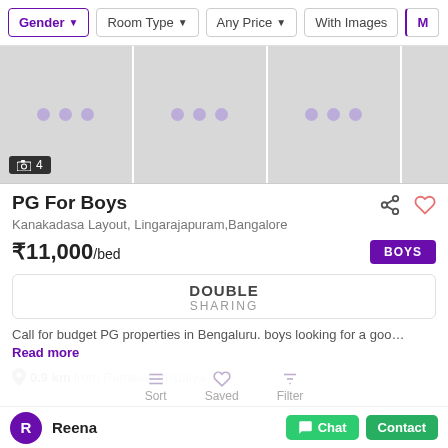Gender | Room Type | Any Price | With Images | More
[Figure (photo): Image carousel placeholder with 3 loading cells showing dots, and a photo count badge showing 4]
PG For Boys
Kanakadasa Layout, Lingarajapuram,Bangalore
₹11,000/bed
BOYS
DOUBLE SHARING
Call for budget PG properties in Bengaluru. boys looking for a goo... Read more
0.9 km from Ramaswamipalya
Sort | Saved | Filter
Reena
Chat | Contact